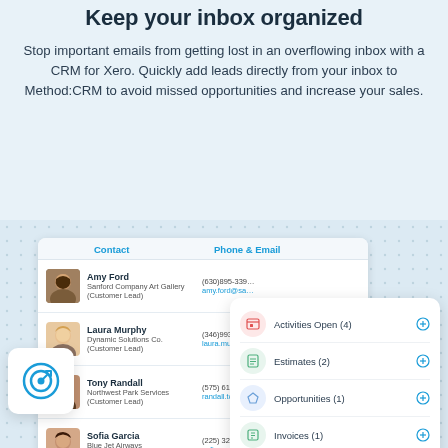Keep your inbox organized
Stop important emails from getting lost in an overflowing inbox with a CRM for Xero. Quickly add leads directly from your inbox to Method:CRM to avoid missed opportunities and increase your sales.
[Figure (screenshot): CRM for Xero screenshot showing a contact list with Amy Ford, Laura Murphy, Tony Randall, Sofia Garcia, and a popup card showing Activities Open (4), Estimates (2), Opportunities (1), Invoices (1) with a target/goal icon card overlay.]